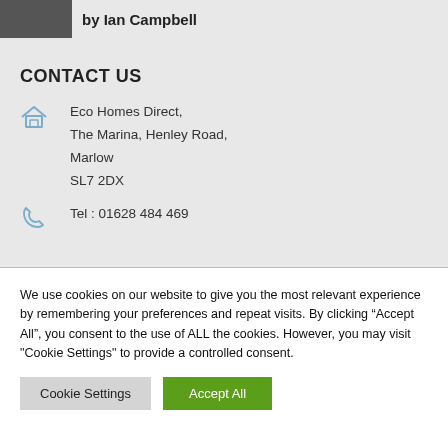by Ian Campbell
CONTACT US
Eco Homes Direct,
The Marina, Henley Road,
Marlow
SL7 2DX
Tel : 01628 484 469
We use cookies on our website to give you the most relevant experience by remembering your preferences and repeat visits. By clicking “Accept All”, you consent to the use of ALL the cookies. However, you may visit "Cookie Settings" to provide a controlled consent.
Cookie Settings
Accept All